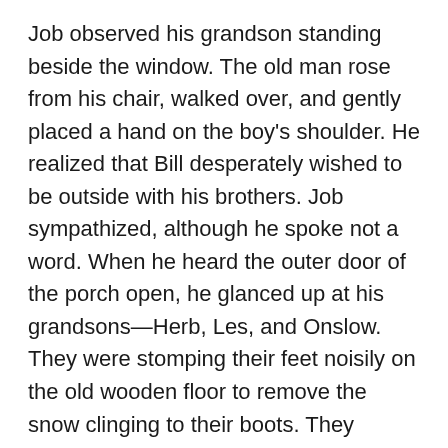Job observed his grandson standing beside the window. The old man rose from his chair, walked over, and gently placed a hand on the boy's shoulder. He realized that Bill desperately wished to be outside with his brothers. Job sympathized, although he spoke not a word. When he heard the outer door of the porch open, he glanced up at his grandsons—Herb, Les, and Onslow. They were stomping their feet noisily on the old wooden floor to remove the snow clinging to their boots. They brushed the snow from their coats before throwing them onto the pegs on the wall, and then, they flung their caps on top of the coats. Onslow, who was the